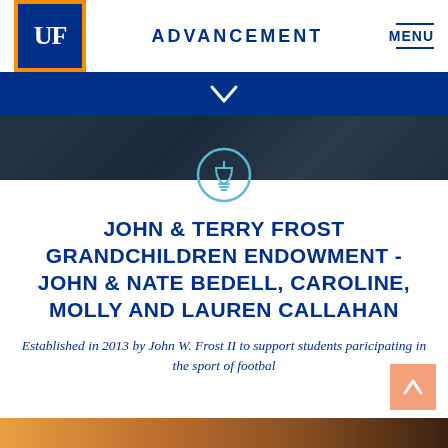[Figure (logo): University of Florida UF logo — white UF letters on dark blue background with orange border]
ADVANCEMENT
MENU
[Figure (illustration): Dark blue banner with white chevron/down arrow]
[Figure (photo): Dark aerial/landscape photo strip with light blue circle icon of a trophy/award]
JOHN & TERRY FROST GRANDCHILDREN ENDOWMENT -JOHN & NATE BEDELL, CAROLINE, MOLLY AND LAUREN CALLAHAN
Established in 2013 by John W. Frost II to support students paricipating in the sport of footbal
[Figure (illustration): Salmon/orange scroll-to-top button with white up arrow]
[Figure (photo): Bottom orange/golden gradient strip]